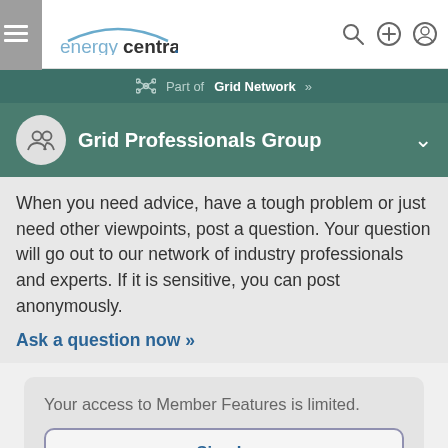energycentral.
Part of Grid Network »
Grid Professionals Group
When you need advice, have a tough problem or just need other viewpoints, post a question. Your question will go out to our network of industry professionals and experts. If it is sensitive, you can post anonymously.
Ask a question now »
Your access to Member Features is limited.
Sign In